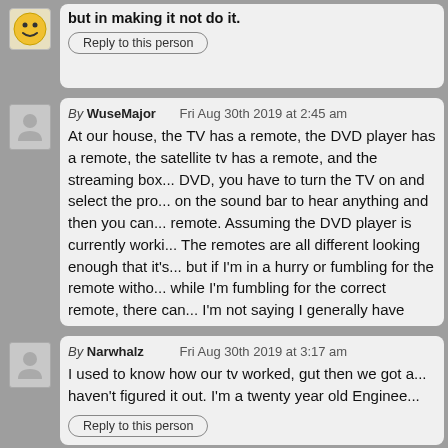but in making it not do it.
Reply to this person
By WuseMajor   Fri Aug 30th 2019 at 2:45 am
At our house, the TV has a remote, the DVD player has a remote, the satellite tv has a remote, and the streaming box... DVD, you have to turn the TV on and select the proper input, turn on the sound bar to hear anything and then you can use the DVD remote. Assuming the DVD player is currently working. The remotes are all different looking enough that it's not usually hard, but if I'm in a hurry or fumbling for the remote without my glasses on while I'm fumbling for the correct remote, there can be mistakes. I'm not saying I generally have trouble, but I can un...
Reply to this person
By Narwhalz   Fri Aug 30th 2019 at 3:17 am
I used to know how our tv worked, gut then we got a... haven't figured it out. I'm a twenty year old Enginee...
Reply to this person